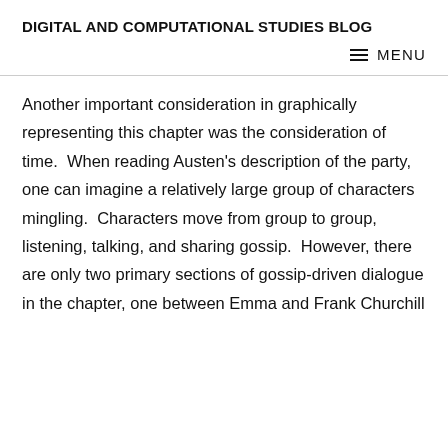DIGITAL AND COMPUTATIONAL STUDIES BLOG
≡ MENU
Another important consideration in graphically representing this chapter was the consideration of time.  When reading Austen's description of the party, one can imagine a relatively large group of characters mingling.  Characters move from group to group, listening, talking, and sharing gossip.  However, there are only two primary sections of gossip-driven dialogue in the chapter, one between Emma and Frank Churchill